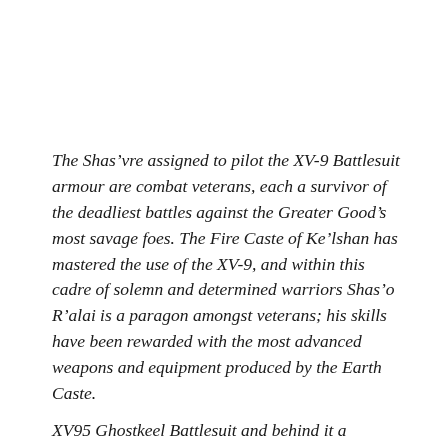The Shas'vre assigned to pilot the XV-9 Battlesuit armour are combat veterans, each a survivor of the deadliest battles against the Greater Good's most savage foes. The Fire Caste of Ke'lshan has mastered the use of the XV-9, and within this cadre of solemn and determined warriors Shas'o R'alai is a paragon amongst veterans; his skills have been rewarded with the most advanced weapons and equipment produced by the Earth Caste.
XV95 Ghostkeel Battlesuit and behind it a